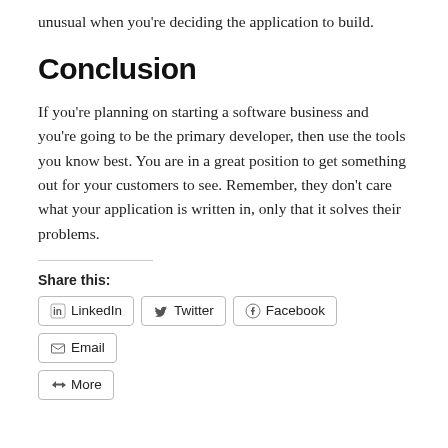unusual when you're deciding the application to build.
Conclusion
If you're planning on starting a software business and you're going to be the primary developer, then use the tools you know best. You are in a great position to get something out for your customers to see. Remember, they don't care what your application is written in, only that it solves their problems.
Share this:
LinkedIn  Twitter  Facebook  Email  More